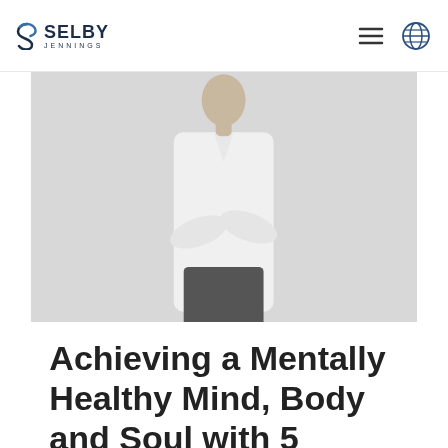SELBY JENNINGS
[Figure (photo): Person in white shirt with arms crossed, standing against a light grey background, upper body visible]
Achieving a Mentally Healthy Mind, Body and Soul with 5 Practices
over 1 year ago